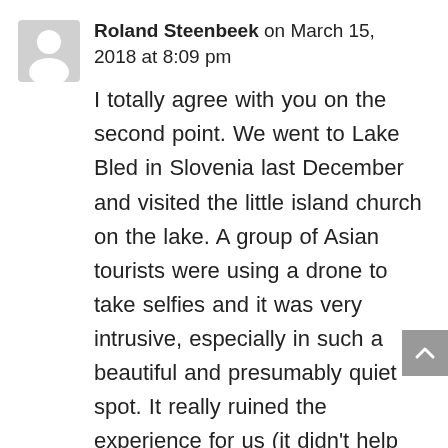[Figure (illustration): Gray avatar/profile placeholder icon showing a silhouette of a person]
Roland Steenbeek on March 15, 2018 at 8:09 pm
I totally agree with you on the second point. We went to Lake Bled in Slovenia last December and visited the little island church on the lake. A group of Asian tourists were using a drone to take selfies and it was very intrusive, especially in such a beautiful and presumably quiet spot. It really ruined the experience for us (it didn't help that the group was loud to start with and performed some